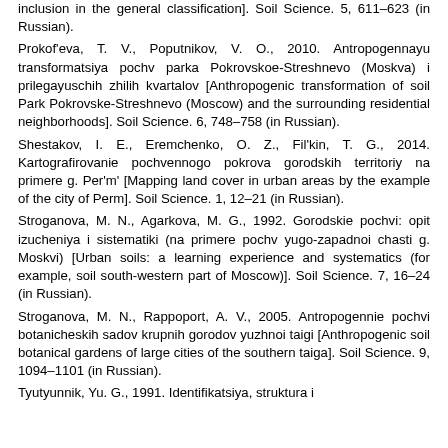inclusion in the general classification]. Soil Science. 5, 611–623 (in Russian).
Prokof'eva, T. V., Poputnikov, V. O., 2010. Antropogennayu transformatsiya pochv parka Pokrovskoe-Streshnevo (Moskva) i prilegayuschih zhilih kvartalov [Anthropogenic transformation of soil Park Pokrovske-Streshnevo (Moscow) and the surrounding residential neighborhoods]. Soil Science. 6, 748–758 (in Russian).
Shestakov, I. E., Eremchenko, O. Z., Fil'kin, T. G., 2014. Kartografirovanie pochvennogo pokrova gorodskih territoriy na primere g. Per'm' [Mapping land cover in urban areas by the example of the city of Perm]. Soil Science. 1, 12–21 (in Russian).
Stroganova, M. N., Agarkova, M. G., 1992. Gorodskie pochvi: opit izucheniya i sistematiki (na primere pochv yugo-zapadnoi chasti g. Moskvi) [Urban soils: a learning experience and systematics (for example, soil south-western part of Moscow)]. Soil Science. 7, 16–24 (in Russian).
Stroganova, M. N., Rappoport, A. V., 2005. Antropogennie pochvi botanicheskih sadov krupnih gorodov yuzhnoi taigi [Anthropogenic soil botanical gardens of large cities of the southern taiga]. Soil Science. 9, 1094–1101 (in Russian).
Tyutyunnik, Yu. G., 1991. Identifikatsiya, struktura i